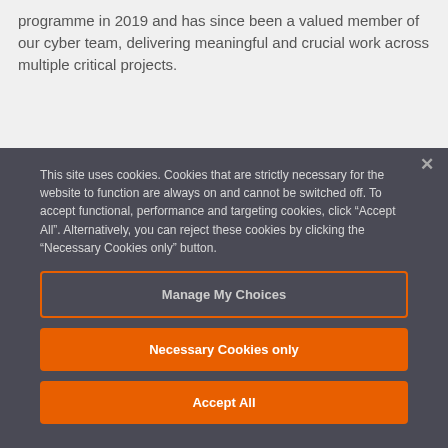programme in 2019 and has since been a valued member of our cyber team, delivering meaningful and crucial work across multiple critical projects.
This site uses cookies. Cookies that are strictly necessary for the website to function are always on and cannot be switched off. To accept functional, performance and targeting cookies, click “Accept All”. Alternatively, you can reject these cookies by clicking the “Necessary Cookies only” button.
Manage My Choices
Necessary Cookies only
Accept All